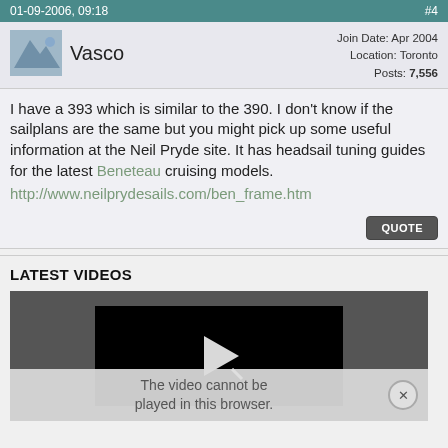01-09-2006, 09:18    #4
Vasco
Join Date: Apr 2004
Location: Toronto
Posts: 7,556
I have a 393 which is similar to the 390. I don't know if the sailplans are the same but you might pick up some useful information at the Neil Pryde site. It has headsail tuning guides for the latest Beneteau cruising models.
http://www.neilprydesails.com/ben_frame.htm
QUOTE
LATEST VIDEOS
[Figure (screenshot): Video player showing a black screen with a white play/arrow icon. Below it shows an error message: 'The video cannot be played in this browser.']